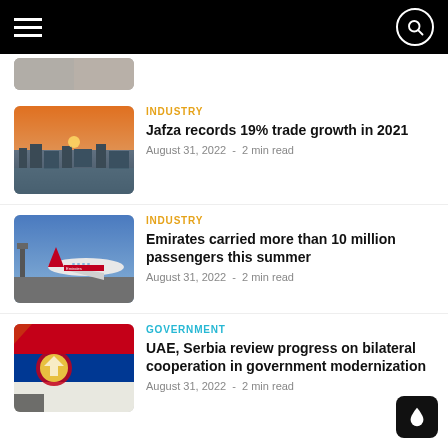Navigation bar with hamburger menu and search icon
[Figure (photo): Partially visible cropped thumbnail image at top]
INDUSTRY
Jafza records 19% trade growth in 2021
August 31, 2022  -  2 min read
[Figure (photo): Aerial view of Jafza industrial/port area at sunset]
INDUSTRY
Emirates carried more than 10 million passengers this summer
August 31, 2022  -  2 min read
[Figure (photo): Emirates aircraft on tarmac]
GOVERNMENT
UAE, Serbia review progress on bilateral cooperation in government modernization
August 31, 2022  -  2 min read
[Figure (photo): Serbian flag being held]